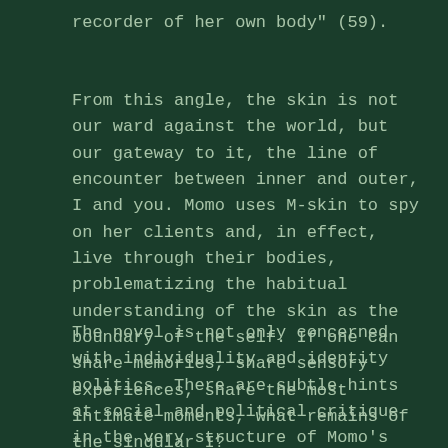recorder of her own body" (59).
From this angle, the skin is not our ward against the world, but our gateway to it, the line of encounter between inner and outer, I and you. Momo uses M-skin to spy on her clients and, in effect, live through their bodies, problematizing the habitual understanding of the skin as the boundary of the self. If one can share memories, share sensory experiences, share the most intimate moments, what remains of the singular I?
The novel is not only concerned with individuality and identity politics. There are subtle hints at social and political critique in the very structure of Momo's ocean world: “The new sea-dwellers also left behind